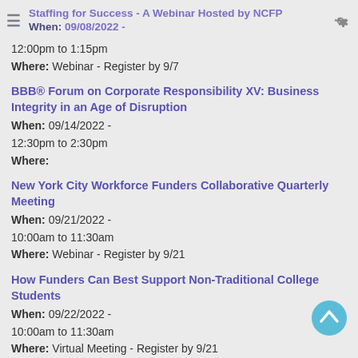Staffing for Success - A Webinar Hosted by NCFP When: 09/08/2022 -
12:00pm to 1:15pm
Where: Webinar - Register by 9/7
BBB® Forum on Corporate Responsibility XV: Business Integrity in an Age of Disruption
When: 09/14/2022 - 12:30pm to 2:30pm
Where:
New York City Workforce Funders Collaborative Quarterly Meeting
When: 09/21/2022 - 10:00am to 11:30am
Where: Webinar - Register by 9/21
How Funders Can Best Support Non-Traditional College Students
When: 09/22/2022 - 10:00am to 11:30am
Where: Virtual Meeting - Register by 9/21